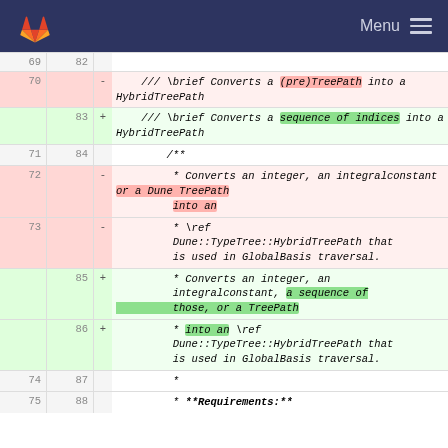Menu
| old line | new line | op | code |
| --- | --- | --- | --- |
| 69 | 82 |  |  |
| 70 |  | - | /// \brief Converts a (pre)TreePath into a HybridTreePath |
|  | 83 | + | /// \brief Converts a sequence of indices into a HybridTreePath |
| 71 | 84 |  | /** |
| 72 |  | - | * Converts an integer, an integralconstant or a Dune TreePath into an |
| 73 |  | - | * \ref Dune::TypeTree::HybridTreePath that is used in GlobalBasis traversal. |
|  | 85 | + | * Converts an integer, an integralconstant, a sequence of those, or a TreePath |
|  | 86 | + | * into an \ref Dune::TypeTree::HybridTreePath that is used in GlobalBasis traversal. |
| 74 | 87 |  | * |
| 75 | 88 |  | * **Requirements:** |